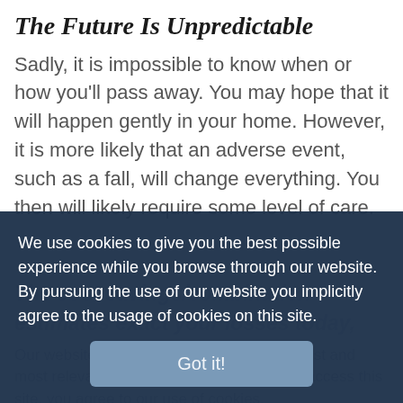The Future Is Unpredictable
Sadly, it is impossible to know when or how you'll pass away. You may hope that it will happen gently in your home. However, it is more likely that an adverse event, such as a fall, will change everything. You then will likely require some level of care.
We use cookies to give you the best possible experience while you browse through our website. By pursuing the use of our website you implicitly agree to the usage of cookies on this site.
Got it!